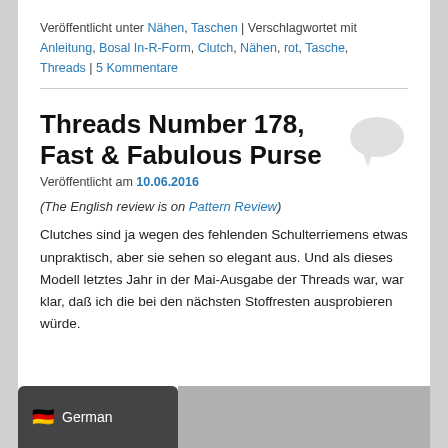Veröffentlicht unter Nähen, Taschen | Verschlagwortet mit Anleitung, Bosal In-R-Form, Clutch, Nähen, rot, Tasche, Threads | 5 Kommentare
Threads Number 178, Fast & Fabulous Purse
Veröffentlicht am 10.06.2016
(The English review is on Pattern Review)
Clutches sind ja wegen des fehlenden Schulterriemens etwas unpraktisch, aber sie sehen so elegant aus. Und als dieses Modell letztes Jahr in der Mai-Ausgabe der Threads war, war klar, daß ich die bei den nächsten Stoffresten ausprobieren würde.
[Figure (other): German flag badge with label 'German' and a grey image placeholder strip at the bottom of the page]